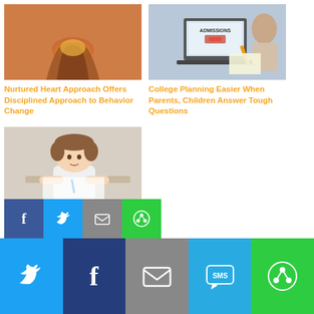[Figure (photo): Hands holding a glowing light against sunset sky]
Nurtured Heart Approach Offers Disciplined Approach to Behavior Change
[Figure (photo): Laptop with Admissions screen, child writing with pencil]
College Planning Easier When Parents, Children Answer Tough Questions
[Figure (photo): Young child writing or drawing at a desk]
Home is Not for Homework – Ban It!
[Figure (infographic): Social share buttons: Facebook, Twitter, Email, Share icons in colored squares]
[Figure (infographic): Bottom social share bar: Twitter (blue), Facebook (dark blue), Email (gray), SMS (light blue), Share (green)]